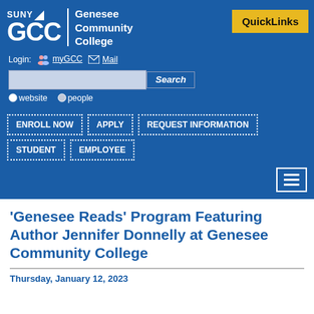SUNY GCC | Genesee Community College
Login: myGCC  Mail
Search  website  people
ENROLL NOW  APPLY  REQUEST INFORMATION  STUDENT  EMPLOYEE
'Genesee Reads' Program Featuring Author Jennifer Donnelly at Genesee Community College
Thursday, January 12, 2023